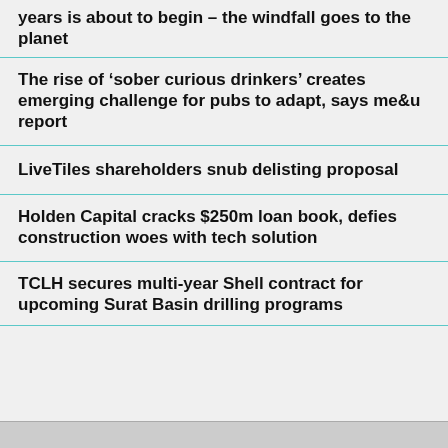years is about to begin – the windfall goes to the planet
The rise of ‘sober curious drinkers’ creates emerging challenge for pubs to adapt, says me&u report
LiveTiles shareholders snub delisting proposal
Holden Capital cracks $250m loan book, defies construction woes with tech solution
TCLH secures multi-year Shell contract for upcoming Surat Basin drilling programs